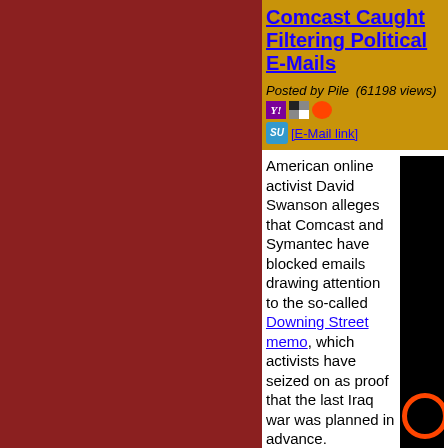Comcast Caught Filtering Political E-Mails
Posted by Pile (61198 views) [E-Mail link]
American online activist David Swanson alleges that Comcast and Symantec have blocked emails drawing attention to the so-called Downing Street memo, which activists have seized on as proof that the last Iraq war was planned in advance.
READ MORE | 48 comments sin... Comment on this Article
Comcast Sued For Selling Their Customers
Posted by Pile (10672 views) [E-Mail link]